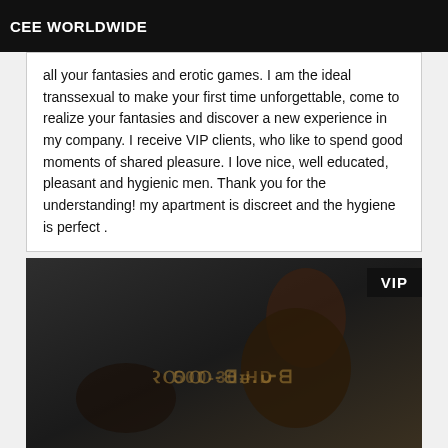CEE WORLDWIDE
all your fantasies and erotic games. I am the ideal transsexual to make your first time unforgettable, come to realize your fantasies and discover a new experience in my company. I receive VIP clients, who like to spend good moments of shared pleasure. I love nice, well educated, pleasant and hygienic men. Thank you for the understanding! my apartment is discreet and the hygiene is perfect .
[Figure (photo): Photo of a woman posing with a VIP badge overlay and watermark text in the center]